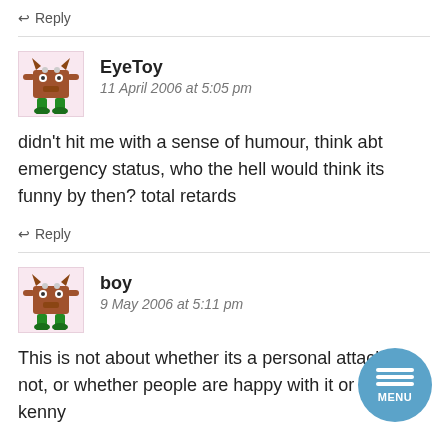↩ Reply
EyeToy
11 April 2006 at 5:05 pm
didn't hit me with a sense of humour, think abt emergency status, who the hell would think its funny by then? total retards
↩ Reply
boy
9 May 2006 at 5:11 pm
This is not about whether its a personal attack or not, or whether people are happy with it or not. Yes kenny